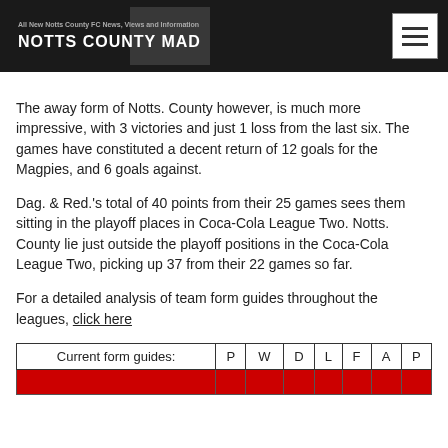NOTTS COUNTY MAD
The away form of Notts. County however, is much more impressive, with 3 victories and just 1 loss from the last six. The games have constituted a decent return of 12 goals for the Magpies, and 6 goals against.
Dag. & Red.'s total of 40 points from their 25 games sees them sitting in the playoff places in Coca-Cola League Two. Notts. County lie just outside the playoff positions in the Coca-Cola League Two, picking up 37 from their 22 games so far.
For a detailed analysis of team form guides throughout the leagues, click here
| Current form guides: | P | W | D | L | F | A | P |
| --- | --- | --- | --- | --- | --- | --- | --- |
|  |  |  |  |  |  |  |  |